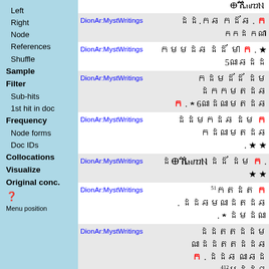Left
Right
Node
References
Shuffle
Sample
Filter
Sub-hits
1st hit in doc
Frequency
Node forms
Doc IDs
Collocations
Visualize
Original conc.
?
Menu position
| Source | Concordance |
| --- | --- |
| DionAr:MystWritings | [RTL Syriac text row 1] |
| DionAr:MystWritings | [RTL Syriac text row 2] |
| DionAr:MystWritings | [RTL Syriac text row 3] |
| DionAr:MystWritings | [RTL Syriac text row 4] |
| DionAr:MystWritings | [RTL Syriac text row 5] |
| DionAr:MystWritings | [RTL Syriac text row 6] |
| DionAr:MystWritings | [RTL Syriac text row 7] |
| DionAr:MystWritings | [RTL Syriac text row 8] |
| DionAr:MystWritings | [RTL Syriac text row 9] |